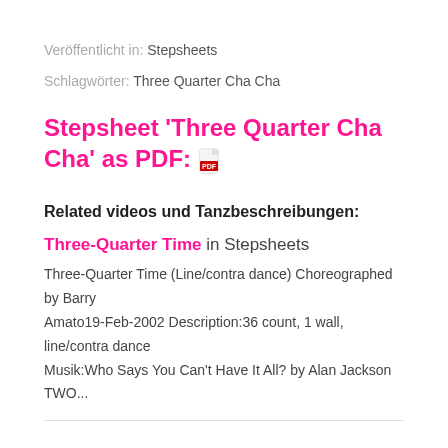Veröffentlicht in: Stepsheets
Schlagwörter: Three Quarter Cha Cha
Stepsheet 'Three Quarter Cha Cha' as PDF: 📄
Related videos und Tanzbeschreibungen:
Three-Quarter Time in Stepsheets
Three-Quarter Time (Line/contra dance) Choreographed by Barry Amato19-Feb-2002 Description:36 count, 1 wall, line/contra dance Musik:Who Says You Can't Have It All? by Alan Jackson TWO...